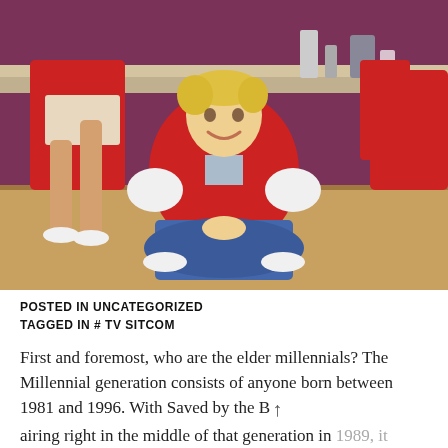[Figure (photo): Group photo of young people in red varsity jackets seated and standing in what appears to be a school diner or cafeteria setting. A blond boy sits cross-legged on the floor in the center smiling at the camera.]
POSTED IN UNCATEGORIZED
TAGGED IN # TV SITCOM
First and foremost, who are the elder millennials? The Millennial generation consists of anyone born between 1981 and 1996. With Saved by the Bell airing right in the middle of that generation in 1989, it